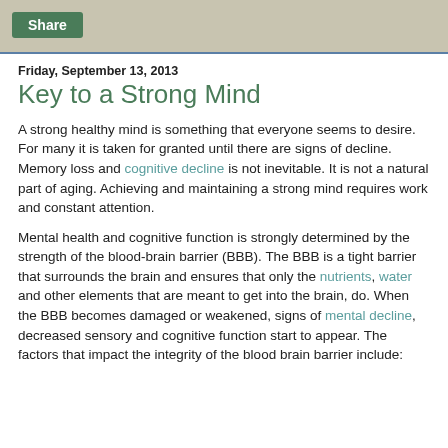Share
Key to a Strong Mind
Friday, September 13, 2013
A strong healthy mind is something that everyone seems to desire. For many it is taken for granted until there are signs of decline. Memory loss and cognitive decline is not inevitable. It is not a natural part of aging. Achieving and maintaining a strong mind requires work and constant attention.
Mental health and cognitive function is strongly determined by the strength of the blood-brain barrier (BBB). The BBB is a tight barrier that surrounds the brain and ensures that only the nutrients, water and other elements that are meant to get into the brain, do. When the BBB becomes damaged or weakened, signs of mental decline, decreased sensory and cognitive function start to appear. The factors that impact the integrity of the blood brain barrier include: